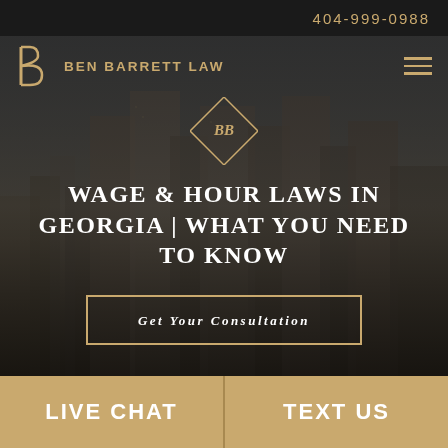404-999-0988
[Figure (screenshot): Ben Barrett Law website header with logo, navigation, city skyline background, page title 'WAGE & HOUR LAWS IN GEORGIA | WHAT YOU NEED TO KNOW', and consultation CTA button]
WAGE & HOUR LAWS IN GEORGIA | WHAT YOU NEED TO KNOW
Get Your Consultation
LIVE CHAT
TEXT US